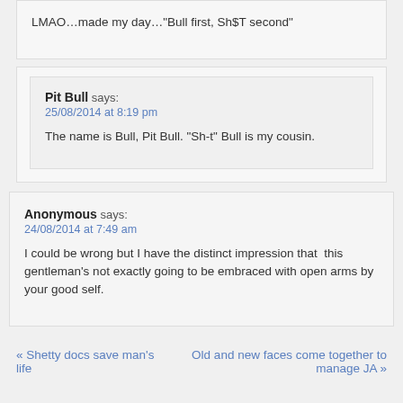LMAO…made my day…"Bull first, Sh$T second"
Pit Bull says:
25/08/2014 at 8:19 pm
The name is Bull, Pit Bull.  "Sh-t" Bull is my cousin.
Anonymous says:
24/08/2014 at 7:49 am
I could be wrong but I have the distinct impression that  this gentleman's not exactly going to be embraced with open arms by your good self.
« Shetty docs save man's life
Old and new faces come together to manage JA »